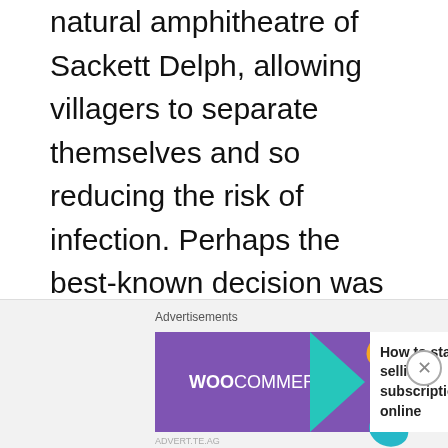natural amphitheatre of Sackett Delph, allowing villagers to separate themselves and so reducing the risk of infection. Perhaps the best-known decision was to quarantine the entire village to prevent further spread of the disease.

Such a sacrifice is hard to imagine and – considering the era it happened it – perhaps more should be made to
[Figure (other): WooCommerce advertisement banner with purple background, teal arrow, orange and teal decorative blobs, and text 'How to start selling subscriptions online'. Labeled 'Advertisements' above. Close button (X) on the right side.]